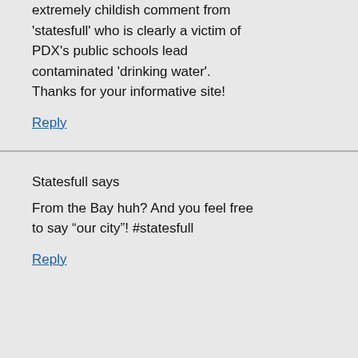Also, kudos to your reply to that extremely childish comment from 'statesfull' who is clearly a victim of PDX's public schools lead contaminated 'drinking water'. Thanks for your informative site!
Reply
Statesfull says
From the Bay huh? And you feel free to say “our city”! #statesfull
Reply